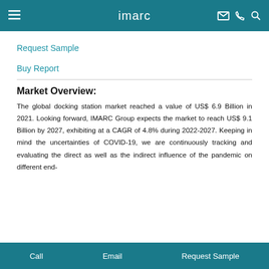imarc
Request Sample
Buy Report
Market Overview:
The global docking station market reached a value of US$ 6.9 Billion in 2021. Looking forward, IMARC Group expects the market to reach US$ 9.1 Billion by 2027, exhibiting at a CAGR of 4.8% during 2022-2027. Keeping in mind the uncertainties of COVID-19, we are continuously tracking and evaluating the direct as well as the indirect influence of the pandemic on different end-
Call   Email   Request Sample